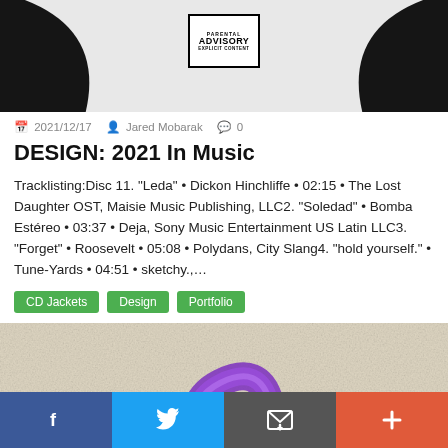[Figure (photo): Top portion of album/CD jacket design with black swoosh shapes on white/grey background and a Parental Advisory Explicit Content badge in the center]
2021/12/17   Jared Mobarak   0
DESIGN: 2021 In Music
Tracklisting:Disc 11. “Leda” • Dickon Hinchliffe • 02:15 • The Lost Daughter OST, Maisie Music Publishing, LLC2. “Soledad” • Bomba Estéreo • 03:37 • Deja, Sony Music Entertainment US Latin LLC3. “Forget” • Roosevelt • 05:08 • Polydans, City Slang4. “hold yourself.” • Tune-Yards • 04:51 • sketchy.,…
CD Jackets
Design
Portfolio
[Figure (illustration): Beige/cream textured background with a purple glittery cursive letter or design element in the center]
Facebook  Twitter  Email  More